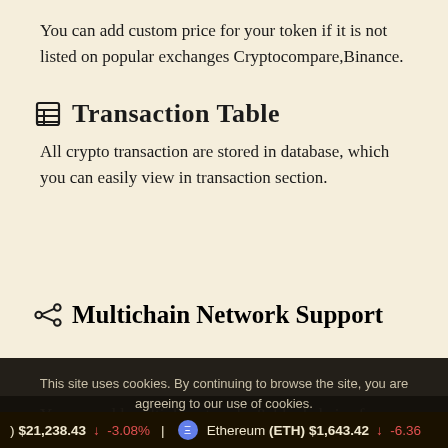You can add custom price for your token if it is not listed on popular exchanges Cryptocompare,Binance.
Transaction Table
All crypto transaction are stored in database, which you can easily view in transaction section.
Multichain Network Support
You can add multiple networks & blockchains for payment like Binance, Aaave and others.
Te...
You can test payment by using their test networks...
This site uses cookies. By continuing to browse the site, you are agreeing to our use of cookies.
$21,238.43 ↓ -3.08% Ethereum (ETH) $1,643.42 ↓ -6.36